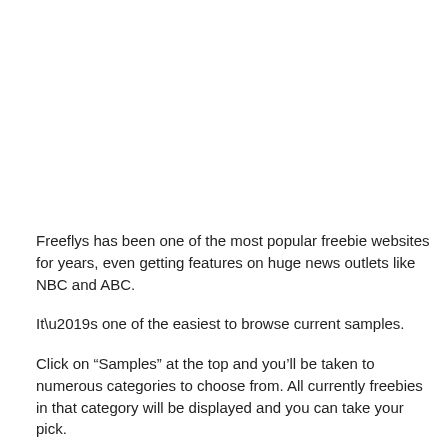Freeflys has been one of the most popular freebie websites for years, even getting features on huge news outlets like NBC and ABC.
It’s one of the easiest to browse current samples.
Click on “Samples” at the top and you’ll be taken to numerous categories to choose from. All currently freebies in that category will be displayed and you can take your pick.
Free Mania
Free Mania goes even further than many freebies websites do.
Not only does it list coupons and free samples, but there’s also categories for free events, apps, music, and more.
You can also check the Free Gifts section to score some bargain deals on Amazon products and items from other online retailers.
Or, sign up for the daily newsletter to get some awesome deals sent to